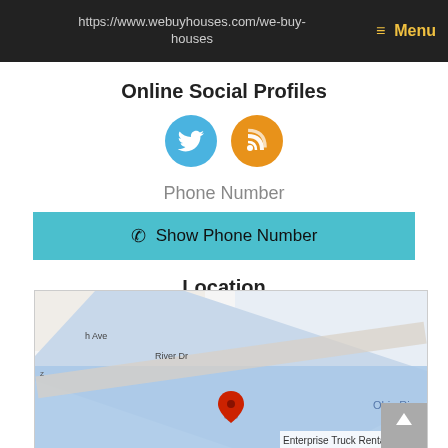https://www.webuyhouses.com/we-buy-houses  ≡ Menu
Online Social Profiles
[Figure (illustration): Two social media icons: Twitter (blue circle with white bird) and RSS (orange circle with white wifi/rss symbol)]
Phone Number
Show Phone Number
Location
Huntington, West Virginia, 25771
United States
[Figure (map): Google map screenshot showing Huntington, West Virginia area with Ohio River label, River Dr street, h Ave, and a red map pin. Enterprise Truck Rental label visible at bottom right.]